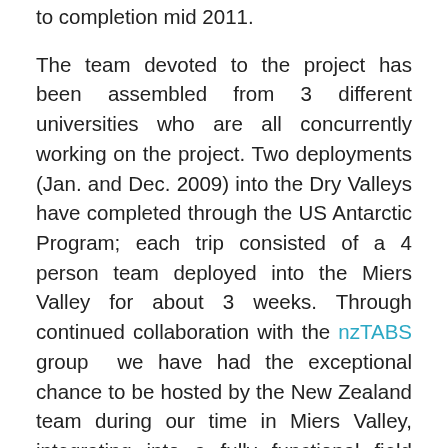to completion mid 2011.
The team devoted to the project has been assembled from 3 different universities who are all concurrently working on the project. Two deployments (Jan. and Dec. 2009) into the Dry Valleys have completed through the US Antarctic Program; each trip consisted of a 4 person team deployed into the Miers Valley for about 3 weeks. Through continued collaboration with the nzTABS group we have had the exceptional chance to be hosted by the New Zealand team during our time in Miers Valley, integrating into a fully functional field camp during both field deployments, encompassing cooking equipment, human waste facilities and a large, temporary field-hut that was utilized as a makeshift laboratory by both the NZ and US teams.